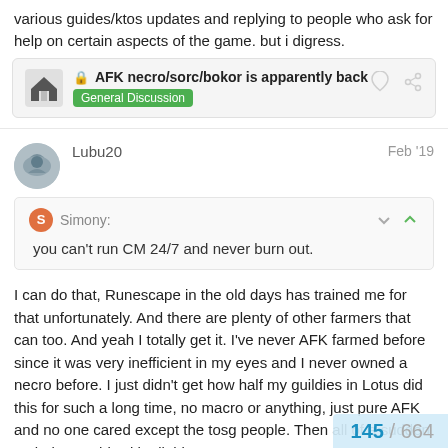various guides/ktos updates and replying to people who ask for help on certain aspects of the game. but i digress.
[Figure (other): Forum link card showing a locked thread titled 'AFK necro/sorc/bokor is apparently back' with a green 'General Discussion' badge, house icon, heart icon, and link icon.]
Lubu20
Feb '19
Simony:
you can't run CM 24/7 and never burn out.
I can do that, Runescape in the old days has trained me for that unfortunately. And there are plenty of other farmers that can too. And yeah I totally get it. I've never AFK farmed before since it was very inefficient in my eyes and I never owned a necro before. I just didn't get how half my guildies in Lotus did this for such a long time, no macro or anything, just pure AFK and no one cared except the tosg people. Then all of a sudden Melody gets hit with all this.
145 / 664